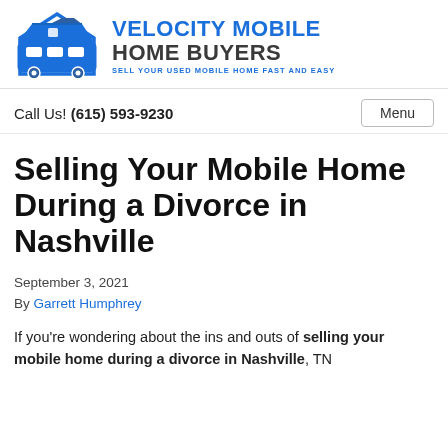[Figure (logo): Velocity Mobile Home Buyers logo — blue house/van icon on left, company name in bold dark and blue text on right, tagline 'SELL YOUR USED MOBILE HOME FAST AND EASY' in blue below]
Call Us! (615) 593-9230   Menu
Selling Your Mobile Home During a Divorce in Nashville
September 3, 2021
By Garrett Humphrey
If you're wondering about the ins and outs of selling your mobile home during a divorce in Nashville, TN